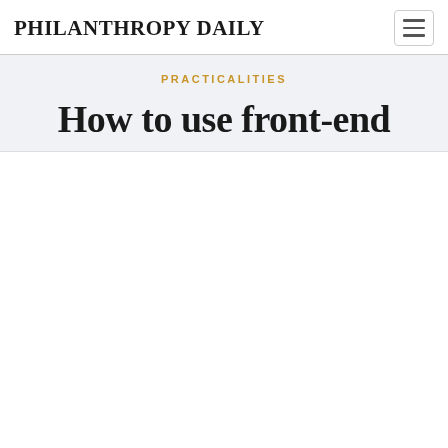PHILANTHROPY DAILY
PRACTICALITIES
How to use front-end
This website stores cookies on your computer. These cookies are used to improve your website experience and provide more personalized services to you, both on this website and through other media. To find out more about the cookies we use, see our Privacy Policy.
We won't track your information when you visit our site. But in order to comply with your preferences, we'll have to use just one tiny cookie so that you're not asked to make this choice again.